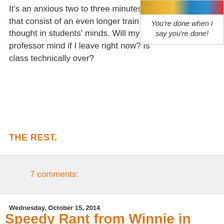It's an anxious two to three minutes that consist of an even longer train of thought in students' minds. Will my professor mind if I leave right now? Is class technically over?
[Figure (illustration): Quote box with colorful image strip at top and italic text reading: You're done when I say you're done!]
THE REST.
7 comments:
Wednesday, October 15, 2014
Speedy Rant from Winnie in Warrensville. Job Misery (Old Shit; New Unhappiness.)
[Figure (illustration): Image showing the word SPEEDY in large red letters with a car partially visible below]